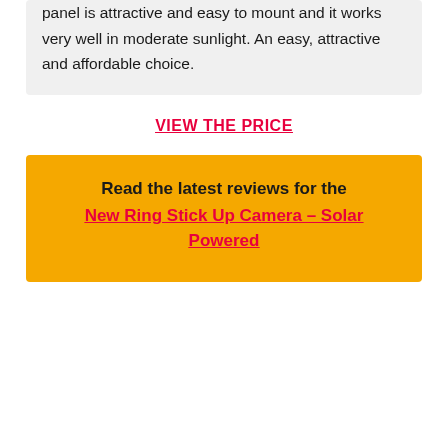panel is attractive and easy to mount and it works very well in moderate sunlight. An easy, attractive and affordable choice.
VIEW THE PRICE
Read the latest reviews for the New Ring Stick Up Camera - Solar Powered